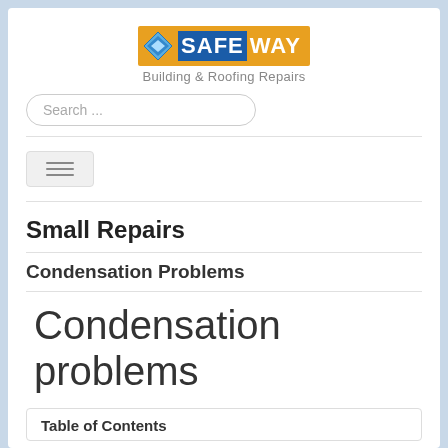[Figure (logo): Safeway Building & Roofing Repairs logo with blue and orange badge and diamond shape]
Search ...
[Figure (other): Hamburger menu button with three horizontal lines]
Small Repairs
Condensation Problems
Condensation problems
Table of Contents